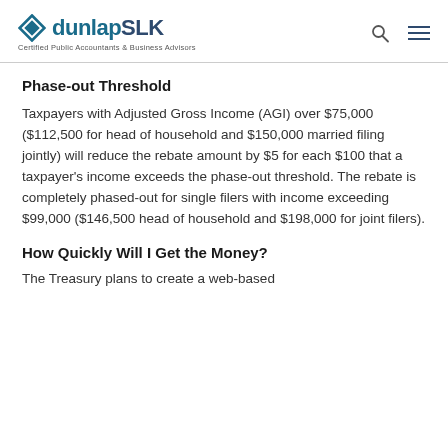dunlapSLK — Certified Public Accountants & Business Advisors
Phase-out Threshold
Taxpayers with Adjusted Gross Income (AGI) over $75,000 ($112,500 for head of household and $150,000 married filing jointly) will reduce the rebate amount by $5 for each $100 that a taxpayer's income exceeds the phase-out threshold. The rebate is completely phased-out for single filers with income exceeding $99,000 ($146,500 head of household and $198,000 for joint filers).
How Quickly Will I Get the Money?
The Treasury plans to create a web-based